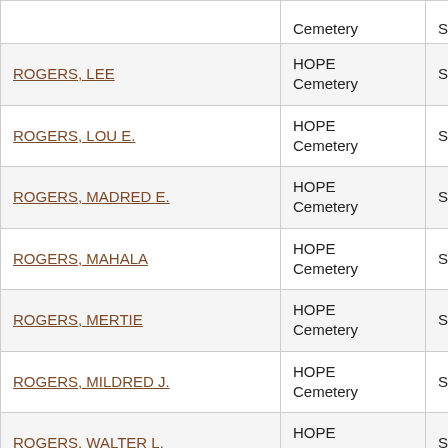| Name | Cemetery | County |
| --- | --- | --- |
| ROGERS, LEE | HOPE Cemetery | Stephens |
| ROGERS, LOU E. | HOPE Cemetery | Stephens |
| ROGERS, MADRED E. | HOPE Cemetery | Stephens |
| ROGERS, MAHALA | HOPE Cemetery | Stephens |
| ROGERS, MERTIE | HOPE Cemetery | Stephens |
| ROGERS, MILDRED J. | HOPE Cemetery | Stephens |
| ROGERS, WALTER L. | HOPE Cemetery | Stephens |
| ROGERS WATHEL, JOAH M. | HOPE Cemetery | Stephens |
| (partial) | HOPE |  |